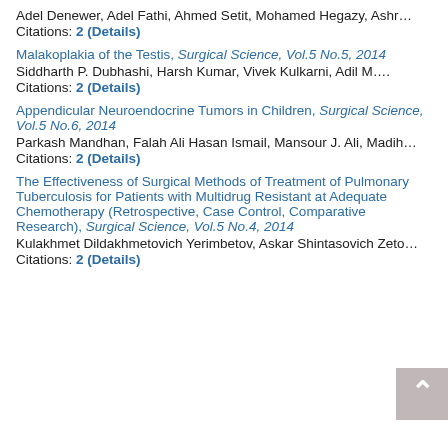Adel Denewer, Adel Fathi, Ahmed Setit, Mohamed Hegazy, Ashr…
Citations: 2 (Details)
Malakoplakia of the Testis, Surgical Science, Vol.5 No.5, 2014
Siddharth P. Dubhashi, Harsh Kumar, Vivek Kulkarni, Adil M….
Citations: 2 (Details)
Appendicular Neuroendocrine Tumors in Children, Surgical Science, Vol.5 No.6, 2014
Parkash Mandhan, Falah Ali Hasan Ismail, Mansour J. Ali, Madih…
Citations: 2 (Details)
The Effectiveness of Surgical Methods of Treatment of Pulmonary Tuberculosis for Patients with Multidrug Resistant at Adequate Chemotherapy (Retrospective, Case Control, Comparative Research), Surgical Science, Vol.5 No.4, 2014
Kulakhmet Dildakhmetovich Yerimbetov, Askar Shintasovich Zeto…
Citations: 2 (Details)